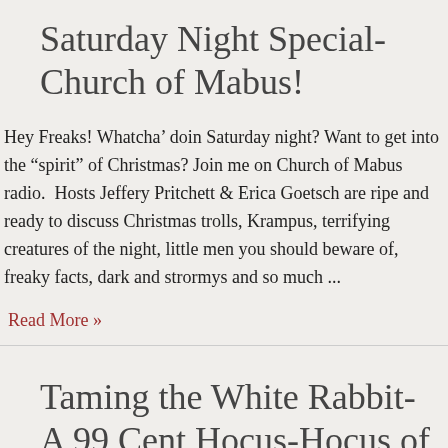Saturday Night Special-Church of Mabus!
Hey Freaks! Whatcha’ doin Saturday night? Want to get into the “spirit” of Christmas? Join me on Church of Mabus radio.  Hosts Jeffery Pritchett & Erica Goetsch are ripe and ready to discuss Christmas trolls, Krampus, terrifying creatures of the night, little men you should beware of, freaky facts, dark and strormys and so much ...
Read More »
Taming the White Rabbit-A 99 Cent Hocus-Hocus of H...